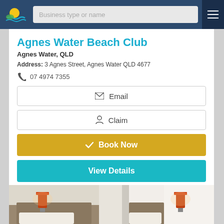[Figure (screenshot): Website navigation bar with logo, search field labeled 'Business type or name', and hamburger menu button]
Agnes Water Beach Club
Agnes Water, QLD
Address: 3 Agnes Street, Agnes Water QLD 4677
07 4974 7355
Email
Claim
Book Now
View Details
[Figure (photo): Interior hotel room photo showing a bed with wall-mounted lamps and a doorway]